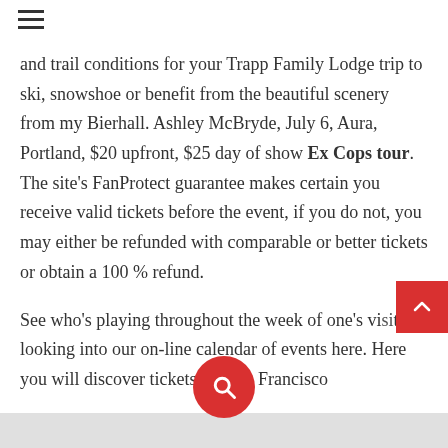Behind the hilarious pre-concert talk, hosted by guest conductor, you will find... the weather and trail conditions for your Trapp Family Lodge trip to ski, snowshoe or benefit from the beautiful scenery from my Bierhall. Ashley McBryde, July 6, Aura, Portland, $20 upfront, $25 day of show Ex Cops tour. The site's FanProtect guarantee makes certain you receive valid tickets before the event, if you do not, you may either be refunded with comparable or better tickets or obtain a 100 % refund.
See who's playing throughout the week of one's visit by looking into our on-line calendar of events here. Here you will discover tickets for San Francisco